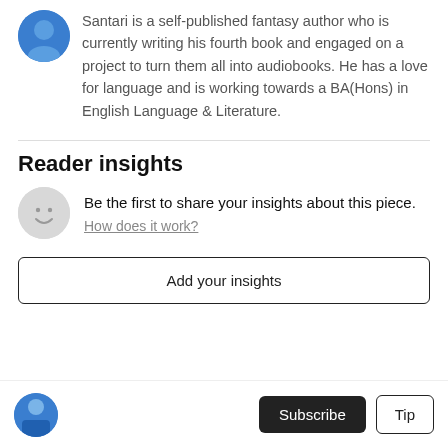Santari is a self-published fantasy author who is currently writing his fourth book and engaged on a project to turn them all into audiobooks. He has a love for language and is working towards a BA(Hons) in English Language & Literature.
Reader insights
Be the first to share your insights about this piece.
How does it work?
Add your insights
Subscribe
Tip